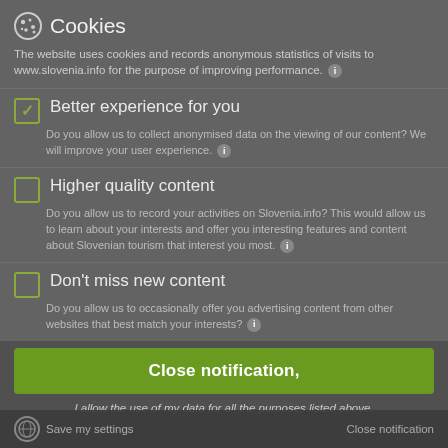Cookies
The website uses cookies and records anonymous statistics of visits to www.slovenia.info for the purpose of improving performance.
Better experience for you
Do you allow us to collect anonymised data on the viewing of our content? We will improve your user experience.
Higher quality content
Do you allow us to record your activities on Slovenia.info? This would allow us to learn about your interests and offer you interesting features and content about Slovenian tourism that interest you most.
Don't miss new content
Do you allow us to occasionally offer you advertising content from other websites that best match your interests?
Close notification,
I allow the use of my data for all the purposes listed above.
Save my settings   Close notification